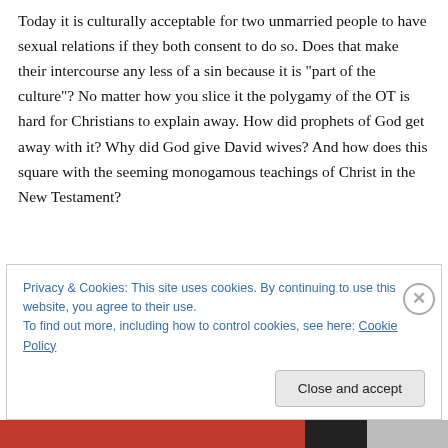Today it is culturally acceptable for two unmarried people to have sexual relations if they both consent to do so. Does that make their intercourse any less of a sin because it is “part of the culture”? No matter how you slice it the polygamy of the OT is hard for Christians to explain away. How did prophets of God get away with it? Why did God give David wives? And how does this square with the seeming monogamous teachings of Christ in the New Testament?
Privacy & Cookies: This site uses cookies. By continuing to use this website, you agree to their use.
To find out more, including how to control cookies, see here: Cookie Policy